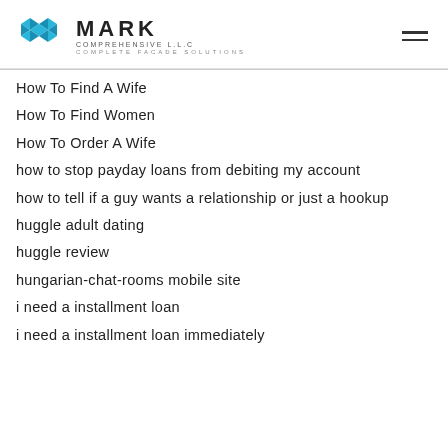MARK COMPREHENSIVE L.L.C — COMPLETE FACADE SOLUTIONS
How To Find A Wife
How To Find Women
How To Order A Wife
how to stop payday loans from debiting my account
how to tell if a guy wants a relationship or just a hookup
huggle adult dating
huggle review
hungarian-chat-rooms mobile site
i need a installment loan
i need a installment loan immediately